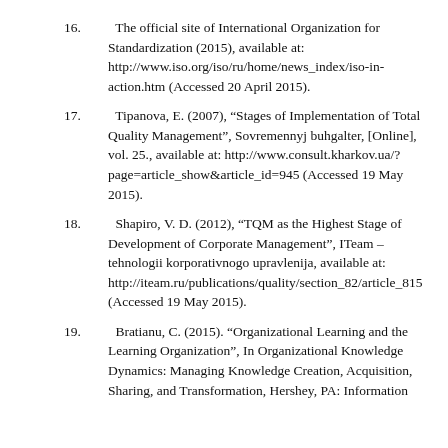16. The official site of International Organization for Standardization (2015), available at: http://www.iso.org/iso/ru/home/news_index/iso-in-action.htm (Accessed 20 April 2015).
17. Tipanova, E. (2007), “Stages of Implementation of Total Quality Management”, Sovremennyj buhgalter, [Online], vol. 25., available at: http://www.consult.kharkov.ua/?page=article_show&article_id=945 (Accessed 19 May 2015).
18. Shapiro, V. D. (2012), “TQM as the Highest Stage of Development of Corporate Management”, ITeam – tehnologii korporativnogo upravlenija, available at: http://iteam.ru/publications/quality/section_82/article_815 (Accessed 19 May 2015).
19. Bratianu, C. (2015). “Organizational Learning and the Learning Organization”, In Organizational Knowledge Dynamics: Managing Knowledge Creation, Acquisition, Sharing, and Transformation, Hershey, PA: Information